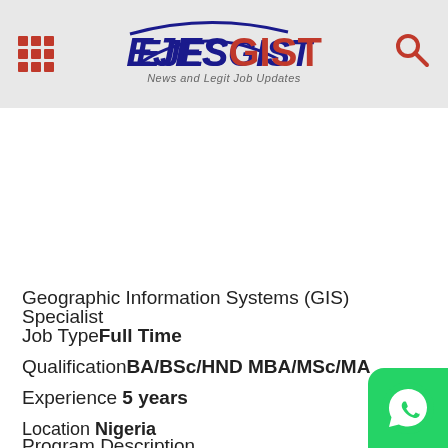EJESGIST News and Legit Job Updates
Geographic Information Systems (GIS) Specialist
Job TypeFull Time
QualificationBA/BSc/HND MBA/MSc/MA
Experience 5 years
Location Nigeria
Job Field ICT / Computer
Program Description